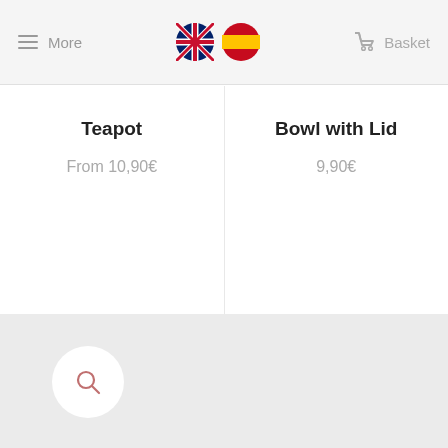More   [UK flag] [ES flag]   Basket
Teapot
From 10,90€
Bowl with Lid
9,90€
[Figure (screenshot): Grey bottom section of a mobile e-commerce app with a white circular search button in the lower left area]